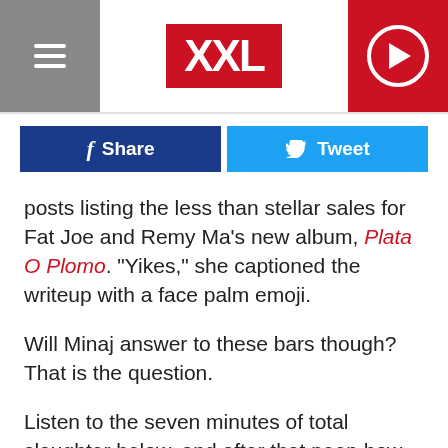XXL
Share | Tweet
posts listing the less than stellar sales for Fat Joe and Remy Ma's new album, Plata O Plomo. "Yikes," she captioned the writeup with a face palm emoji.
Will Minaj answer to these bars though? That is the question.
Listen to the seven minutes of total slaughter below, and after that peep how Twitter is reacting to the diss.